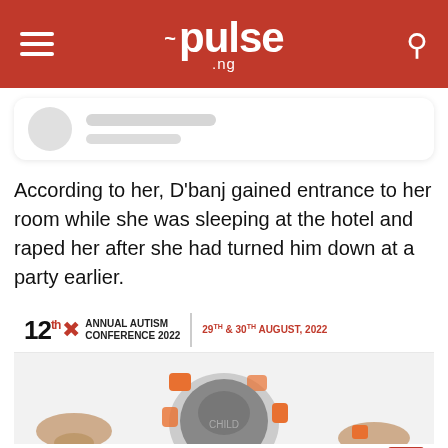pulse.ng
[Figure (screenshot): User profile card placeholder with gray avatar circle and two gray skeleton loading lines]
According to her, D'banj gained entrance to her room while she was sleeping at the hotel and raped her after she had turned him down at a party earlier.
[Figure (advertisement): 12th Annual Autism Conference 2022 advertisement banner. 29TH & 30TH AUGUST, 2022. Shows a child's face surrounded by puzzle pieces. Register Now button and GTCO logo at bottom.]